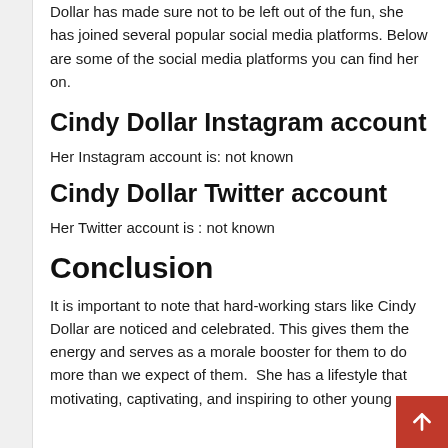Dollar has made sure not to be left out of the fun, she has joined several popular social media platforms. Below are some of the social media platforms you can find her on.
Cindy Dollar Instagram account
Her Instagram account is: not known
Cindy Dollar Twitter account
Her Twitter account is : not known
Conclusion
It is important to note that hard-working stars like Cindy Dollar are noticed and celebrated. This gives them the energy and serves as a morale booster for them to do more than we expect of them.  She has a lifestyle that motivating, captivating, and inspiring to other young